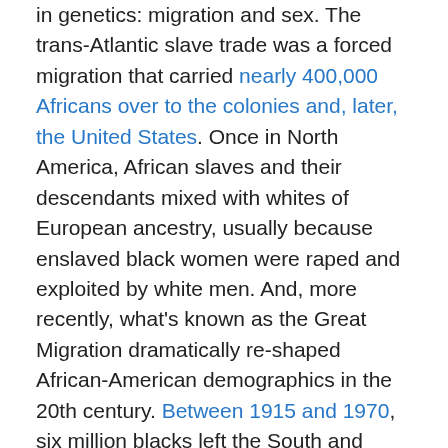in genetics: migration and sex. The trans-Atlantic slave trade was a forced migration that carried nearly 400,000 Africans over to the colonies and, later, the United States. Once in North America, African slaves and their descendants mixed with whites of European ancestry, usually because enslaved black women were raped and exploited by white men. And, more recently, what's known as the Great Migration dramatically re-shaped African-American demographics in the 20th century. Between 1915 and 1970, six million blacks left the South and settled in the Northern, Midwestern, and Western states, in hope of finding opportunities for a better life.
How this turbulent history shaped the genes of African Americans has been unclear because, until recently, most genetic studies have focused either on populations from different geographical regions around the world, or on